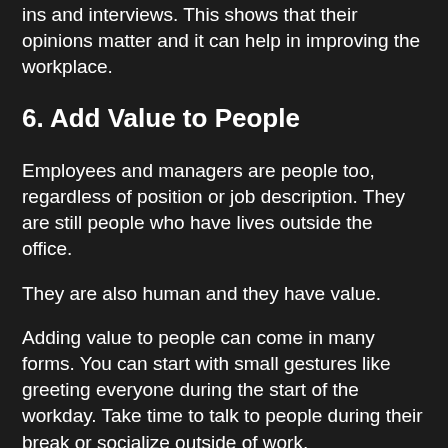ins and interviews. This shows that their opinions matter and it can help in improving the workplace.
6. Add Value to People
Employees and managers are people too, regardless of position or job description. They are still people who have lives outside the office.
They are also human and they have value.
Adding value to people can come in many forms. You can start with small gestures like greeting everyone during the start of the workday. Take time to talk to people during their break or socialize outside of work.
Appreciating their efforts and providing